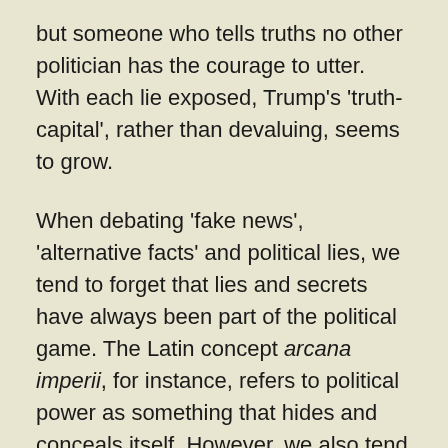but someone who tells truths no other politician has the courage to utter. With each lie exposed, Trump's 'truth-capital', rather than devaluing, seems to grow.
When debating 'fake news', 'alternative facts' and political lies, we tend to forget that lies and secrets have always been part of the political game. The Latin concept arcana imperii, for instance, refers to political power as something that hides and conceals itself. However, we also tend to forget that, in political contexts, truth and truthfulness are not necessarily the same as facts — if we by facts mean truths that concern states of affairs. Lying, concealing, distorting